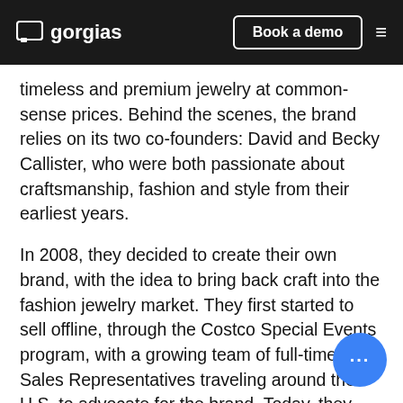gorgias | Book a demo
timeless and premium jewelry at common-sense prices. Behind the scenes, the brand relies on its two co-founders: David and Becky Callister, who were both passionate about craftsmanship, fashion and style from their earliest years.
In 2008, they decided to create their own brand, with the idea to bring back craft into the fashion jewelry market. They first started to sell offline, through the Costco Special Events program, with a growing team of full-time Sales Representatives traveling around the U.S. to advocate for the brand. Today, they have a team of 25 sales who do more than 500 Costco pop-up sho annually in the United States.